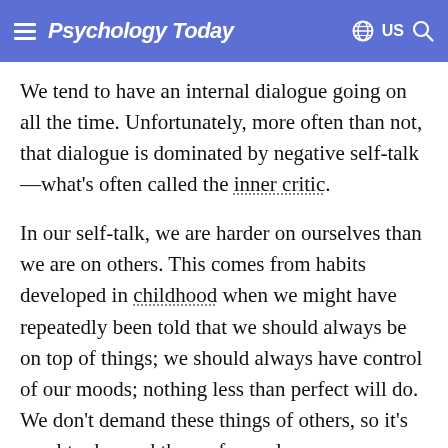Psychology Today
We tend to have an internal dialogue going on all the time. Unfortunately, more often than not, that dialogue is dominated by negative self-talk—what's often called the inner critic.
In our self-talk, we are harder on ourselves than we are on others. This comes from habits developed in childhood when we might have repeatedly been told that we should always be on top of things; we should always have control of our moods; nothing less than perfect will do. We don't demand these things of others, so it's cruel to demand them of ourselves.